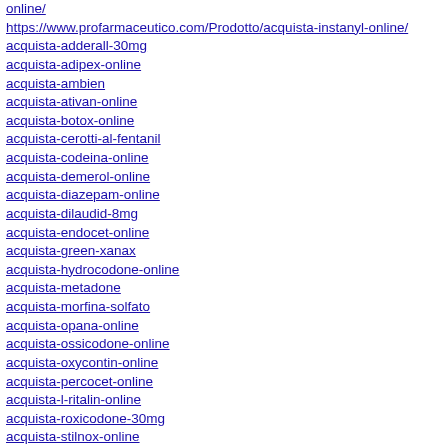online/
https://www.profarmaceutico.com/Prodotto/acquista-instanyl-online/
acquista-adderall-30mg
acquista-adipex-online
acquista-ambien
acquista-ativan-online
acquista-botox-online
acquista-cerotti-al-fentanil
acquista-codeina-online
acquista-demerol-online
acquista-diazepam-online
acquista-dilaudid-8mg
acquista-endocet-online
acquista-green-xanax
acquista-hydrocodone-online
acquista-metadone
acquista-morfina-solfato
acquista-opana-online
acquista-ossicodone-online
acquista-oxycontin-online
acquista-percocet-online
acquista-l-ritalin-online
acquista-roxicodone-30mg
acquista-stilnox-online